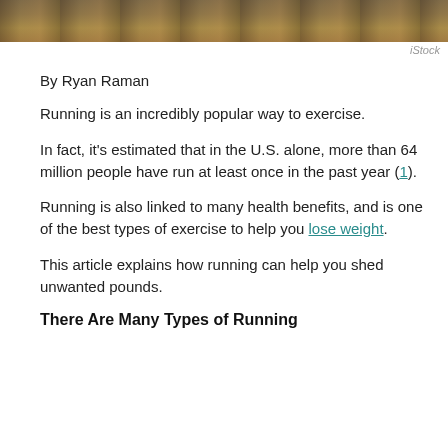[Figure (photo): Cropped photo of people running outdoors with autumn foliage in background]
iStock
By Ryan Raman
Running is an incredibly popular way to exercise.
In fact, it's estimated that in the U.S. alone, more than 64 million people have run at least once in the past year (1).
Running is also linked to many health benefits, and is one of the best types of exercise to help you lose weight.
This article explains how running can help you shed unwanted pounds.
There Are Many Types of Running